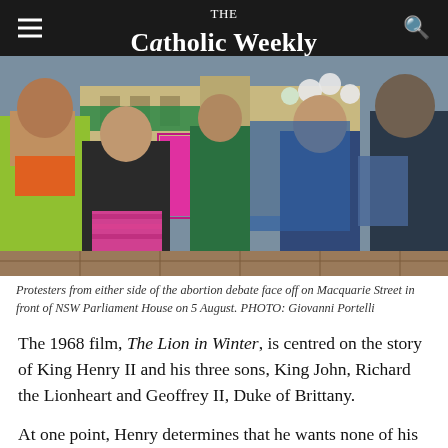The Catholic Weekly
[Figure (photo): Protesters from both sides of the abortion debate facing off on Macquarie Street in front of NSW Parliament House, holding pink and blue signs, with balloons visible in the background.]
Protesters from either side of the abortion debate face off on Macquarie Street in front of NSW Parliament House on 5 August. PHOTO: Giovanni Portelli
The 1968 film, The Lion in Winter, is centred on the story of King Henry II and his three sons, King John, Richard the Lionheart and Geoffrey II, Duke of Brittany.
At one point, Henry determines that he wants none of his